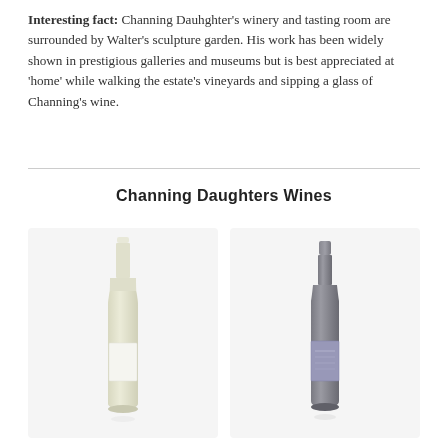Interesting fact: Channing Dauhghter's winery and tasting room are surrounded by Walter's sculpture garden. His work has been widely shown in prestigious galleries and museums but is best appreciated at 'home' while walking the estate's vineyards and sipping a glass of Channing's wine.
Channing Daughters Wines
[Figure (photo): Two wine bottles side by side on light gray backgrounds: left is a clear/white wine bottle with white label, right is a darker bottle with a blue/lavender label.]